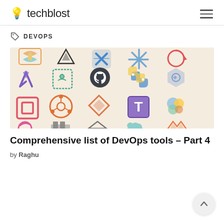techblost
DEVOPS
[Figure (illustration): Grid of hand-drawn style DevOps tool logos on a beige background, including icons for tools like Terraform, GitHub, Python, Grafana, Ubuntu, Git, Terraform, and others arranged in rows.]
Comprehensive list of DevOps tools – Part 4
by Raghu